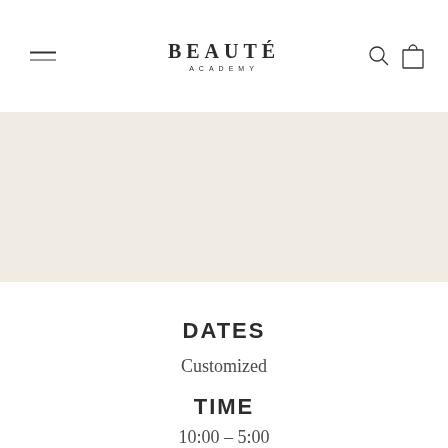BEAUTÉ ACADEMY
[Figure (illustration): Beige/cream colored blank banner area below the navigation header]
DATES
Customized
TIME
10:00 – 5:00